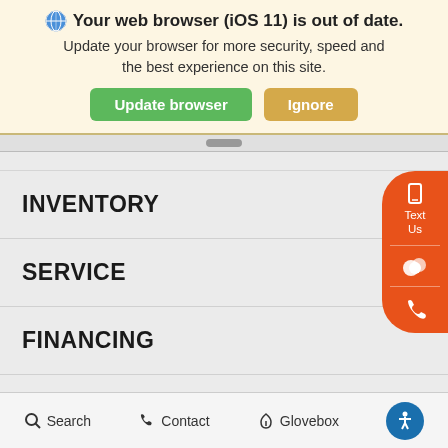Your web browser (iOS 11) is out of date. Update your browser for more security, speed and the best experience on this site. [Update browser] [Ignore]
INVENTORY
SERVICE
FINANCING
ABOUT +
Search  Contact  Glovebox  [accessibility]